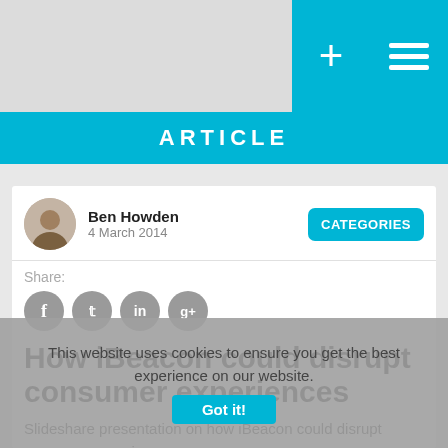ARTICLE
Ben Howden
4 March 2014
CATEGORIES
Share:
How iBeacon could disrupt consumer experiences
Slideshare presentation on how iBeacon could disrupt consumer experiences.
This website uses cookies to ensure you get the best experience on our website.
Got it!
This presentation explores how iBeacon and BLE